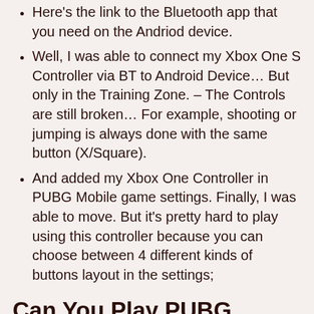Here's the link to the Bluetooth app that you need on the Andriod device.
Well, I was able to connect my Xbox One S Controller via BT to Android Device… But only in the Training Zone. – The Controls are still broken… For example, shooting or jumping is always done with the same button (X/Square).
And added my Xbox One Controller in PUBG Mobile game settings. Finally, I was able to move. But it's pretty hard to play using this controller because you can choose between 4 different kinds of buttons layout in the settings;
Can You Play PUBG Mobile With Xbox?